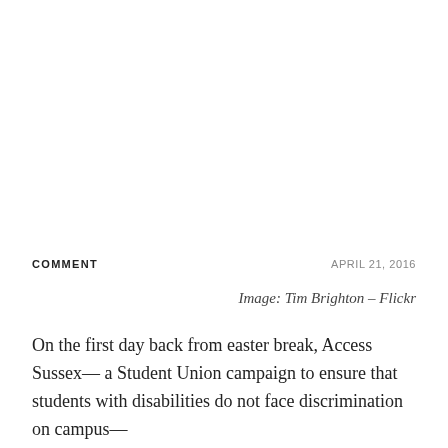[Figure (photo): Large image placeholder at top of page (white/blank area)]
COMMENT
APRIL 21, 2016
Image: Tim Brighton – Flickr
On the first day back from easter break, Access Sussex— a Student Union campaign to ensure that students with disabilities do not face discrimination on campus—